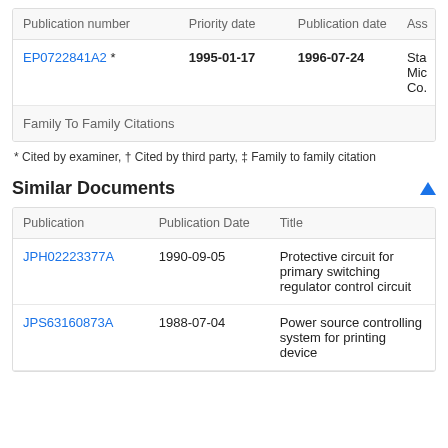| Publication number | Priority date | Publication date | Ass |
| --- | --- | --- | --- |
| EP0722841A2 * | 1995-01-17 | 1996-07-24 | Sta Mic Co. |
| Family To Family Citations |  |  |  |
* Cited by examiner, † Cited by third party, ‡ Family to family citation
Similar Documents
| Publication | Publication Date | Title |
| --- | --- | --- |
| JPH02223377A | 1990-09-05 | Protective circuit for primary switching regulator control circuit |
| JPS63160873A | 1988-07-04 | Power source controlling system for printing device |